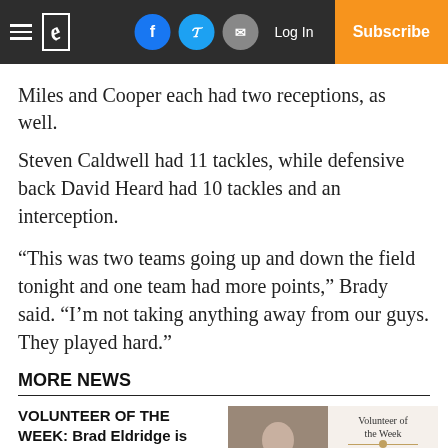Navigation bar with hamburger menu, newspaper logo, Facebook/Twitter/Email share buttons, Log In, Subscribe
Miles and Cooper each had two receptions, as well.
Steven Caldwell had 11 tackles, while defensive back David Heard had 10 tackles and an interception.
“This was two teams going up and down the field tonight and one team had more points,” Brady said. “I’m not taking anything away from our guys. They played hard.”
MORE NEWS
VOLUNTEER OF THE WEEK: Brad Eldridge is just doing his part
[Figure (photo): Photo of Brad Eldridge and a graphic card reading 'Volunteer of the Week - Brad Eldridge - The Vicksburg Post']